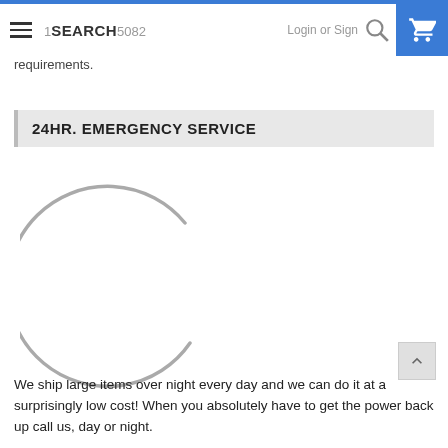1 SEARCH 5082  Login or Sign
requirements.
24HR. EMERGENCY SERVICE
[Figure (other): Partial circular loading spinner arc, gray color, approximately three-quarters of a circle outline]
We ship large items over night every day and we can do it at a surprisingly low cost! When you absolutely have to get the power back up call us, day or night.